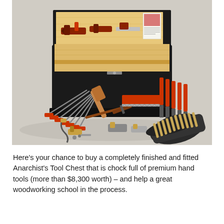[Figure (photo): A black Anarchist's Tool Chest open at the top revealing a light pine interior holding hand planes and tools. In front of the chest, a variety of premium woodworking hand tools are spread out: chisels, saws, planes, a marking gauge, a marking knife, screwdrivers with red handles, a rolled black leather tool roll containing chisels, and other assorted hand tools.]
Here's your chance to buy a completely finished and fitted Anarchist's Tool Chest that is chock full of premium hand tools (more than $8,300 worth) – and help a great woodworking school in the process.